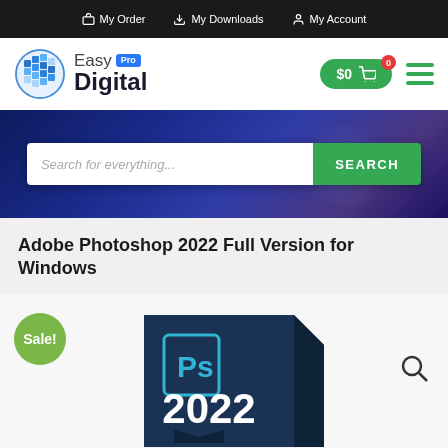My Order | My Downloads | My Account
[Figure (logo): Easy Digital Pro logo with globe icon, cart button showing $0, and hamburger menu]
[Figure (screenshot): Hero banner with dark blue/purple gradient background and search bar with placeholder 'Search for everything...' and green SEARCH button]
Adobe Photoshop 2022 Full Version for Windows
[Figure (photo): Photoshop 2022 product box with Ps logo and 2022 text in bold white, Sale! badge in green circle, magnifier icon on right]